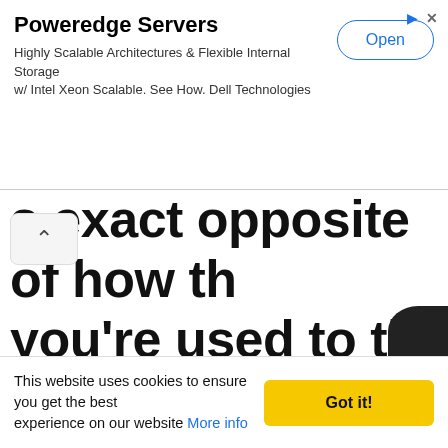[Figure (screenshot): Advertisement banner for Poweredge Servers by Dell Technologies with an Open button]
s exact opposite of how the you're used to the Nikon way challenge for your muscle mem
[Figure (photo): Partially visible image in a bordered box, showing a dark camera element in the bottom right corner]
This website uses cookies to ensure you get the best experience on our website More info